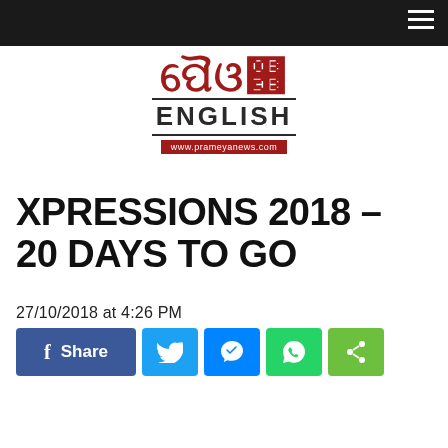Prameya English — www.prameyanews.com
[Figure (logo): Prameya English logo with Odia script text in red, ENGLISH in bold dark text, and website URL www.prameyanews.com in a red bar]
XPRESSIONS 2018 – 20 DAYS TO GO
27/10/2018 at 4:26 PM
[Figure (infographic): Social media share buttons: Facebook Share, Twitter, Messenger, WhatsApp, and general Share button]